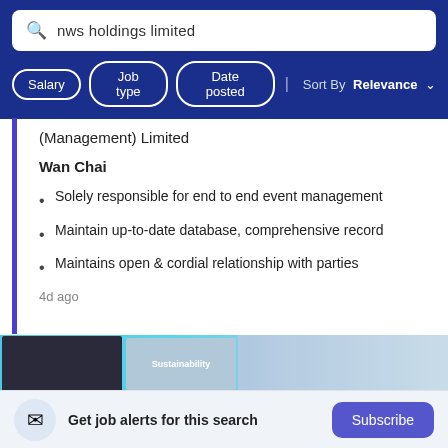nws holdings limited
Salary | Job type | Date posted | Sort By Relevance
(Management) Limited
Wan Chai
Solely responsible for end to end event management
Maintain up-to-date database, comprehensive record
Maintains open & cordial relationship with parties
4d ago
[Figure (screenshot): Banner image with blue background showing dark and light image panels, one reading Sustainability]
Get job alerts for this search Subscribe